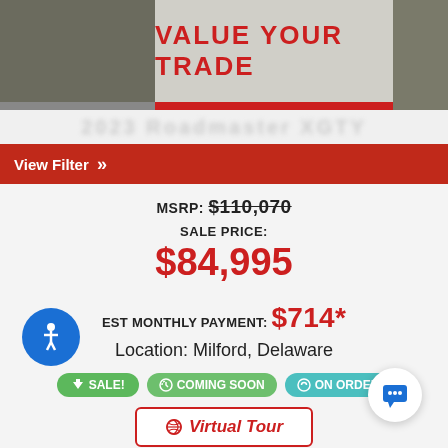[Figure (screenshot): Top banner with VALUE YOUR TRADE text in red on gray/photo background]
View Filter »
MSRP: $110,070
SALE PRICE:
$84,995
EST MONTHLY PAYMENT: $714*
Location: Milford, Delaware
SALE!
COMING SOON
ON ORDER
Virtual Tour